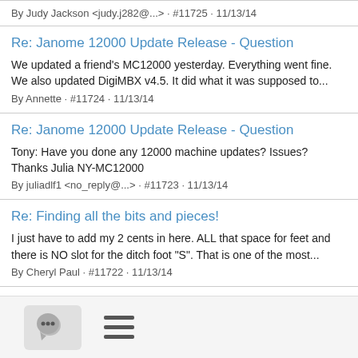By Judy Jackson <judy.j282@...> · #11725 · 11/13/14
Re: Janome 12000 Update Release - Question
We updated a friend's MC12000 yesterday. Everything went fine. We also updated DigiMBX v4.5. It did what it was supposed to...
By Annette · #11724 · 11/13/14
Re: Janome 12000 Update Release - Question
Tony: Have you done any 12000 machine updates? Issues? Thanks Julia NY-MC12000
By juliadlf1 <no_reply@...> · #11723 · 11/13/14
Re: Finding all the bits and pieces!
I just have to add my 2 cents in here. ALL that space for feet and there is NO slot for the ditch foot "S". That is one of the most...
By Cheryl Paul · #11722 · 11/13/14
copy, paste problem
Hi Jim I sure hope you can help me out before I go completely nuts my problem being that when I try to copy and paste a...
[Figure (screenshot): Toolbar at bottom with chat icon button and hamburger menu icon]